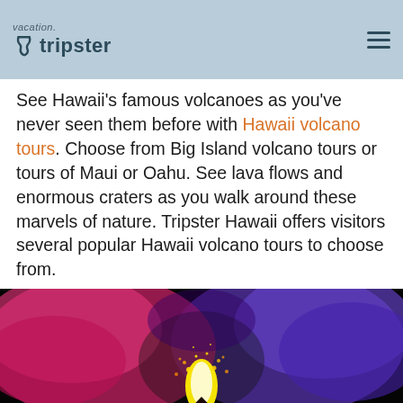vacation. tripster
See Hawaii's famous volcanoes as you've never seen them before with Hawaii volcano tours. Choose from Big Island volcano tours or tours of Maui or Oahu. See lava flows and enormous craters as you walk around these marvels of nature. Tripster Hawaii offers visitors several popular Hawaii volcano tours to choose from.
[Figure (photo): Colorful volcanic eruption at night with pink, yellow, and blue glowing smoke and lava]